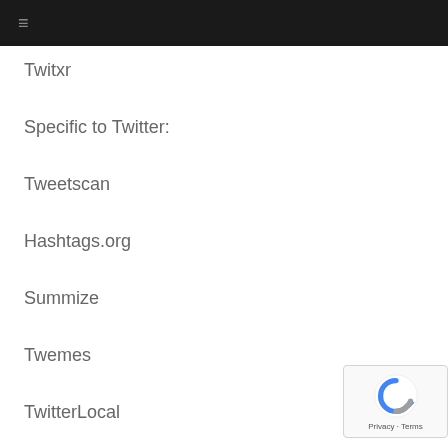≡
Twitxr
Specific to Twitter:
Tweetscan
Hashtags.org
Summize
Twemes
TwitterLocal
Social Networks
[Figure (logo): reCAPTCHA badge with Google logo and Privacy · Terms links]